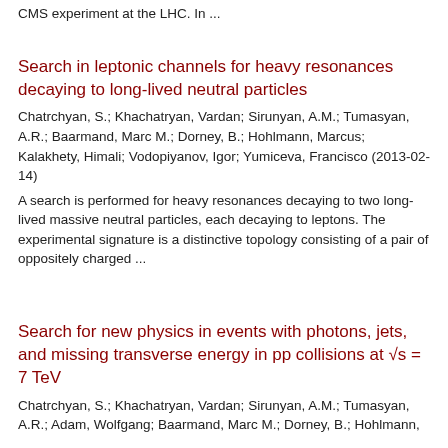CMS experiment at the LHC. In ...
Search in leptonic channels for heavy resonances decaying to long-lived neutral particles
Chatrchyan, S.; Khachatryan, Vardan; Sirunyan, A.M.; Tumasyan, A.R.; Baarmand, Marc M.; Dorney, B.; Hohlmann, Marcus; Kalakhety, Himali; Vodopiyanov, Igor; Yumiceva, Francisco (2013-02-14)
A search is performed for heavy resonances decaying to two long-lived massive neutral particles, each decaying to leptons. The experimental signature is a distinctive topology consisting of a pair of oppositely charged ...
Search for new physics in events with photons, jets, and missing transverse energy in pp collisions at √s = 7 TeV
Chatrchyan, S.; Khachatryan, Vardan; Sirunyan, A.M.; Tumasyan, A.R.; Adam, Wolfgang; Baarmand, Marc M.; Dorney, B.; Hohlmann,